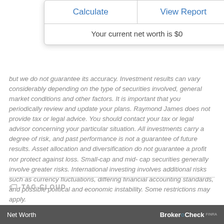[Figure (screenshot): A modal/popup box with two buttons 'Calculate' and 'View Report', and a line below reading 'Your current net worth is $0']
but we do not guarantee its accuracy. Investment results can vary considerably depending on the type of securities involved, general market conditions and other factors. It is important that you periodically review and update your plans. Raymond James does not provide tax or legal advice. You should contact your tax or legal advisor concerning your particular situation. All investments carry a degree of risk, and past performance is not a guarantee of future results. Asset allocation and diversification do not guarantee a profit nor protect against loss. Small-cap and mid- cap securities generally involve greater risks. International investing involves additional risks such as currency fluctuations, differing financial accounting standards, and possible political and economic instability. Some restrictions may apply.
TAG CLOUD
Net Worth    BrokerCheck FINRA